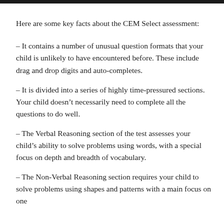Here are some key facts about the CEM Select assessment:
– It contains a number of unusual question formats that your child is unlikely to have encountered before. These include drag and drop digits and auto-completes.
– It is divided into a series of highly time-pressured sections. Your child doesn't necessarily need to complete all the questions to do well.
– The Verbal Reasoning section of the test assesses your child's ability to solve problems using words, with a special focus on depth and breadth of vocabulary.
– The Non-Verbal Reasoning section requires your child to solve problems using shapes and patterns with a main focus on one